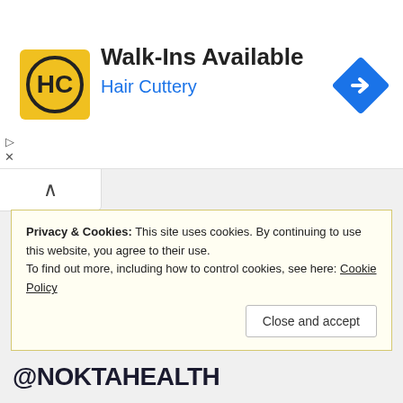[Figure (other): Hair Cuttery advertisement banner with logo, 'Walk-Ins Available' text, and a blue navigation arrow icon]
Privacy & Cookies: This site uses cookies. By continuing to use this website, you agree to their use.
To find out more, including how to control cookies, see here: Cookie Policy
Close and accept
@NOKTAHEALTH